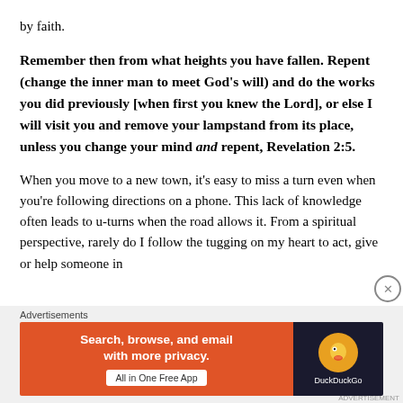by faith.
Remember then from what heights you have fallen. Repent (change the inner man to meet God's will) and do the works you did previously [when first you knew the Lord], or else I will visit you and remove your lampstand from its place, unless you change your mind and repent, Revelation 2:5.
When you move to a new town, it's easy to miss a turn even when you're following directions on a phone. This lack of knowledge often leads to u-turns when the road allows it. From a spiritual perspective, rarely do I follow the tugging on my heart to act, give or help someone in
Advertisements
[Figure (screenshot): DuckDuckGo advertisement banner: orange left panel with text 'Search, browse, and email with more privacy. All in One Free App' and dark right panel with DuckDuckGo logo]